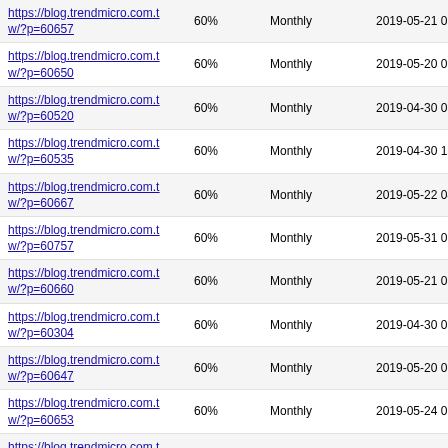| https://blog.trendmicro.com.tw/?p=60657 | 60% | Monthly | 2019-05-21 03:41 |
| https://blog.trendmicro.com.tw/?p=60650 | 60% | Monthly | 2019-05-20 07:48 |
| https://blog.trendmicro.com.tw/?p=60520 | 60% | Monthly | 2019-04-30 07:57 |
| https://blog.trendmicro.com.tw/?p=60535 | 60% | Monthly | 2019-04-30 10:29 |
| https://blog.trendmicro.com.tw/?p=60667 | 60% | Monthly | 2019-05-22 04:57 |
| https://blog.trendmicro.com.tw/?p=60757 | 60% | Monthly | 2019-05-31 08:40 |
| https://blog.trendmicro.com.tw/?p=60660 | 60% | Monthly | 2019-05-21 08:19 |
| https://blog.trendmicro.com.tw/?p=60304 | 60% | Monthly | 2019-04-30 07:50 |
| https://blog.trendmicro.com.tw/?p=60647 | 60% | Monthly | 2019-05-20 07:02 |
| https://blog.trendmicro.com.tw/?p=60653 | 60% | Monthly | 2019-05-24 05:45 |
| https://blog.trendmicro.com.tw/?p=60156 | 60% | Monthly | 2019-04-25 10:25 |
| https://blog.trendmicro.com.tw/?p=60315 | 60% | Monthly | 2019-04-22 05:47 |
| https://blog.trendmicro.com.tw/?p=59959 | 60% | Monthly | 2019-04-22 03:41 |
| https://blog.trendmicro.com.tw/?p=60613 | 60% | Monthly | 2019-05-21 09:13 |
| https://blog.trendmicro.com.tw/?p=60541 | 60% | Monthly | 2019-04-30 10:52 |
| https://blog.trendmicro.com.tw/?p=60237 | 60% | Monthly | 2019-04-15 03:04 |